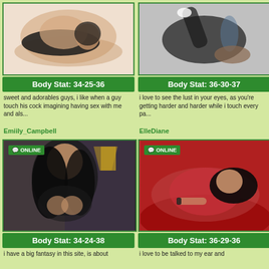[Figure (photo): Woman lying down with black hair, light background]
Body Stat: 34-25-36
sweet and adorables guys, i like when a guy touch his cock imagining having sex with me and als...
Emiily_Campbell
[Figure (photo): Tattooed woman in black doing a yoga/acrobatic pose on grey background]
Body Stat: 36-30-37
i love to see the lust in your eyes, as you're getting harder and harder while i touch every pa...
ElleDiane
[Figure (photo): Dark-haired woman in black top, ONLINE badge, dark background]
Body Stat: 34-24-38
i have a big fantasy in this site, is about
[Figure (photo): Dark-haired woman in red lingerie on red couch, ONLINE badge]
Body Stat: 36-29-36
i love to be talked to my ear and